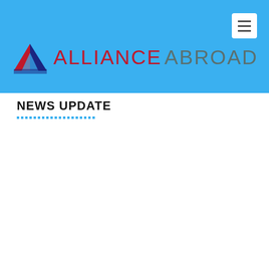[Figure (logo): Alliance Abroad logo with triangular geometric icon in red and dark blue, followed by text 'ALLIANCE ABROAD' in red and grey on blue background]
NEWS UPDATE